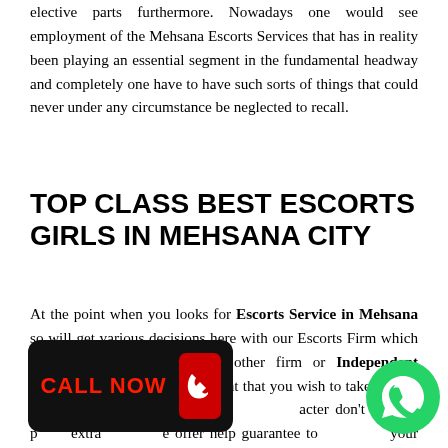elective parts furthermore. Nowadays one would see employment of the Mehsana Escorts Services that has in reality been playing an essential segment in the fundamental headway and completely one have to have such sorts of things that could never under any circumstance be neglected to recall.
TOP CLASS BEST ESCORTS GIRLS IN MEHSANA CITY
At the point when you looks for Escorts Service in Mehsana so will get various decisions here with our Escorts Firm which isn't furnished with different other firm or Independent Escorts in Mehsana. In the event that you wish to take agency on our property or our saved 5 acter don't have to p extra offer help guarantee to your acknowledgment
[Figure (other): Black rounded rectangle button with red 'CALL NOW' text and a red phone handset icon on a red rectangle]
[Figure (other): Green circular WhatsApp logo button]